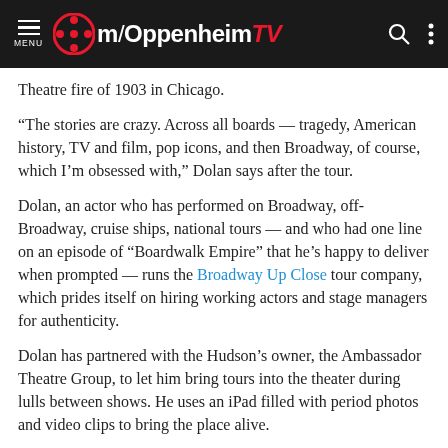m/OppenheiTV
Theatre fire of 1903 in Chicago.
“The stories are crazy. Across all boards — tragedy, American history, TV and film, pop icons, and then Broadway, of course, which I’m obsessed with,” Dolan says after the tour.
Dolan, an actor who has performed on Broadway, off-Broadway, cruise ships, national tours — and who had one line on an episode of “Boardwalk Empire” that he’s happy to deliver when prompted — runs the Broadway Up Close tour company, which prides itself on hiring working actors and stage managers for authenticity.
Dolan has partnered with the Hudson’s owner, the Ambassador Theatre Group, to let him bring tours into the theater during lulls between shows. He uses an iPad filled with period photos and video clips to bring the place alive.
While there are other walking tours of Broadway — and one that also can get you inside a theater — none match Broadway Up Close’s ability to mix history and architectural knowledge and convey it from a performer’s perspective. Whenever he can, Dolan